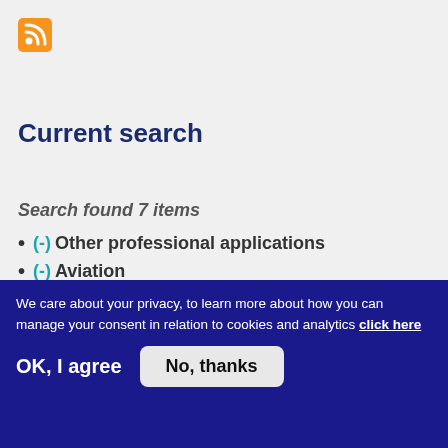[Figure (logo): RSS feed orange icon]
Current search
Search found 7 items
(-) Other professional applications
(-) Aviation
(-) Fundamental Elements
(-) 2142
(-) 2141
We care about your privacy, to learn more about how you can manage your consent in relation to cookies and analytics click here
OK, I agree
No, thanks